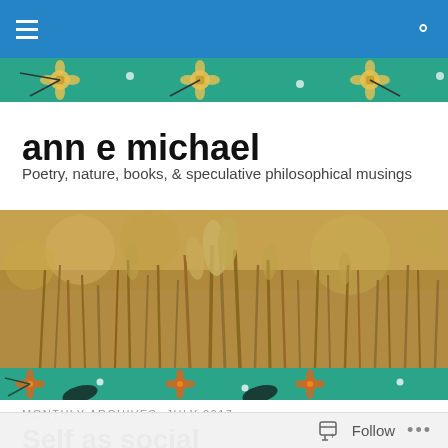ann e michael — navigation bar with menu and search icons
[Figure (illustration): Teal/green floral decorative strip with orange and white flower illustrations at top]
ann e michael
Poetry, nature, books, & speculative philosophical musings
[Figure (photo): Hero banner photograph of golden/brown tall grass reeds in a field, warm earthy tones]
[Figure (illustration): Teal/green floral decorative strip with orange flower illustrations at bottom of hero]
MONTHLY ARCHIVES: JULY 2017
Self as social
Follow ...